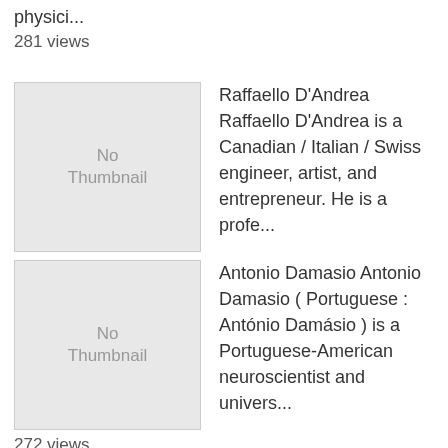physici...
281 views
[Figure (other): No Thumbnail placeholder image]
Raffaello D'Andrea Raffaello D'Andrea is a Canadian / Italian / Swiss engineer, artist, and entrepreneur. He is a profe...
274 views
[Figure (other): No Thumbnail placeholder image]
Antonio Damasio Antonio Damasio ( Portuguese : António Damásio ) is a Portuguese-American neuroscientist and univers...
272 views
[Figure (other): No Thumbnail placeholder image]
Simon Anholt Simon Anholt is an independent policy advisor who has worked to help developement and